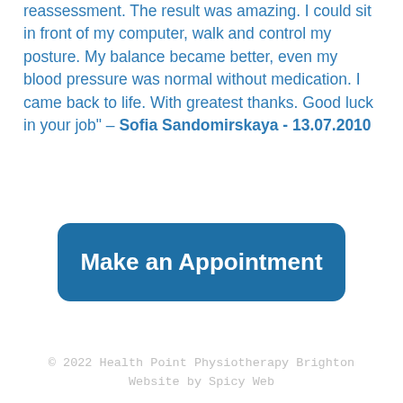reassessment. The result was amazing. I could sit in front of my computer, walk and control my posture. My balance became better, even my blood pressure was normal without medication. I came back to life. With greatest thanks. Good luck in your job" – Sofia Sandomirskaya - 13.07.2010
[Figure (other): A large rounded blue button labeled 'Make an Appointment']
© 2022 Health Point Physiotherapy Brighton
Website by Spicy Web